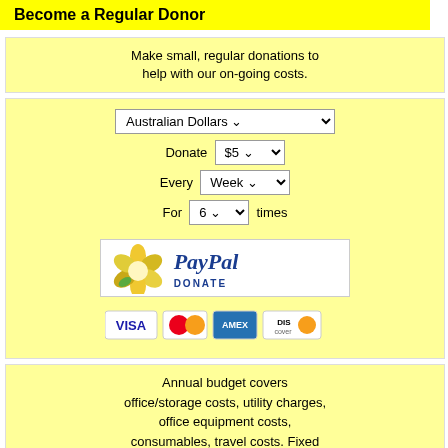Become a Regular Donor
Make small, regular donations to help with our on-going costs.
Australian Dollars dropdown, Donate $5 dropdown, Every Week dropdown, For 6 times
[Figure (logo): PayPal Donate button with flower logo]
[Figure (logo): Credit card logos: VISA, Mastercard, American Express, Discover]
Annual budget covers office/storage costs, utility charges, office equipment costs, consumables, travel costs. Fixed rate A$450 per week indefinitely. We have no budget for promotions, advertising, gifts for supporters or buying professional services.
[Figure (photo): Photo of a house with trees]
© Ray Crawford Collection, Radio Heritage Foundation.
Digital version of text, images and layout © Radio Heritage Foundation 2011.
This content is made possible t
[Figure (logo): Radio 4KZ logo - Cairns to Townsville & the Gulf]